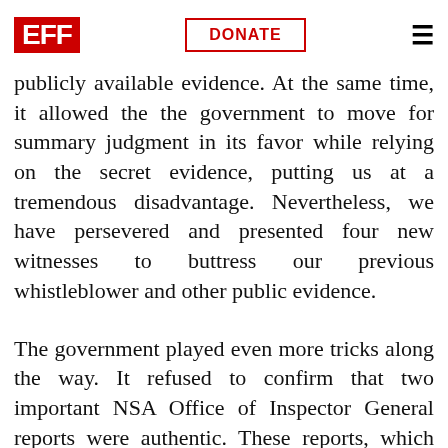EFF | DONATE
instead of letting us use the new information it required us to... only the publicly available evidence. At the same time, it allowed the the government to move for summary judgment in its favor while relying on the secret evidence, putting us at a tremendous disadvantage. Nevertheless, we have persevered and presented four new witnesses to buttress our previous whistleblower and other public evidence.
The government played even more tricks along the way. It refused to confirm that two important NSA Office of Inspector General reports were authentic. These reports, which are plainly what they purport to be, confirm that AT&T participated in mass surveillance. In order to ensure that the reports could be entered into evidence, EFF presented a declaration from Edward Snowden about one and a